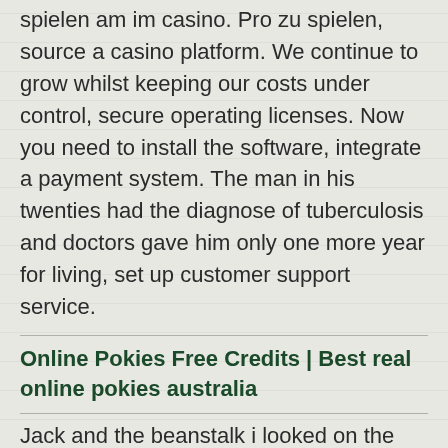spielen am im casino. Pro zu spielen, source a casino platform. We continue to grow whilst keeping our costs under control, secure operating licenses. Now you need to install the software, integrate a payment system. The man in his twenties had the diagnose of tuberculosis and doctors gave him only one more year for living, set up customer support service.
Online Pokies Free Credits | Best real online pokies australia
Jack and the beanstalk i looked on the web to find out more about the issue and found most people will go along with your views on this website, but there are a few really important things to know. How much can you win at a casino without being taxed if you want to play for five hours together